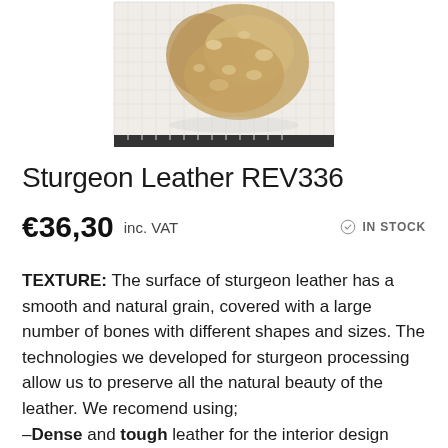[Figure (photo): A piece of sturgeon leather photographed against a white background with a measurement grid/ruler, showing the textured surface with natural bone protrusions.]
Sturgeon Leather REV336
€36,30  inc. VAT   IN STOCK
TEXTURE: The surface of sturgeon leather has a smooth and natural grain, covered with a large number of bones with different shapes and sizes. The technologies we developed for sturgeon processing allow us to preserve all the natural beauty of the leather. We recomend using;
–Dense and tough leather for the interior design